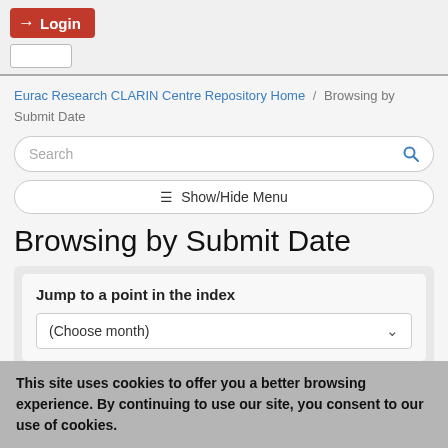Login
Eurac Research CLARIN Centre Repository Home / Browsing by Submit Date
Search
Show/Hide Menu
Browsing by Submit Date
Jump to a point in the index
(Choose month)
This site uses cookies to offer you a better browsing experience. By continuing to use our site, you consent to our use of cookies.